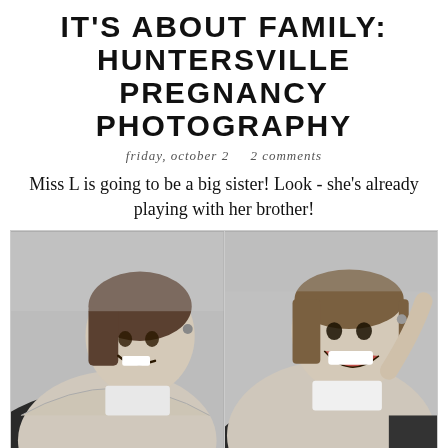IT'S ABOUT FAMILY: HUNTERSVILLE PREGNANCY PHOTOGRAPHY
friday, october 2    2 comments
Miss L is going to be a big sister! Look - she's already playing with her brother!
[Figure (photo): Two side-by-side black and white photos of a young girl peeking over a pregnant belly, smiling and laughing.]